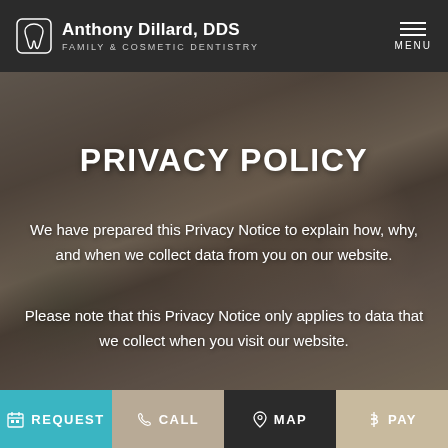Anthony Dillard, DDS — FAMILY & COSMETIC DENTISTRY
[Figure (screenshot): Background hero image showing a woman and child, overlaid with dark semi-transparent tint]
PRIVACY POLICY
We have prepared this Privacy Notice to explain how, why, and when we collect data from you on our website.
Please note that this Privacy Notice only applies to data that we collect when you visit our website.
REQUEST | CALL | MAP | PAY